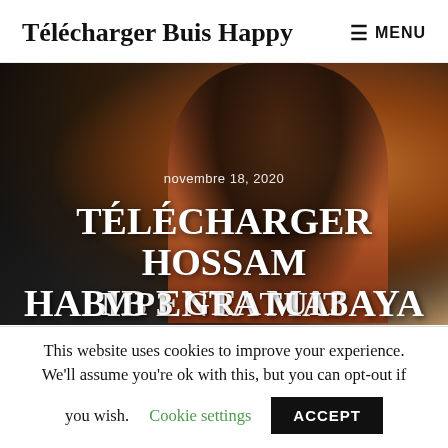Télécharger Buis Happy  ≡ MENU
[Figure (photo): Hero image of a young man in a red/burgundy blazer with dark background, overlaid with date text 'novembre 18, 2020' and large bold white title text 'TÉLÉCHARGER HOSSAM HABIB ENTA MA3AYA' and partially visible text 'MP3 GRATUIT']
This website uses cookies to improve your experience. We'll assume you're ok with this, but you can opt-out if you wish.  Cookie settings  ACCEPT